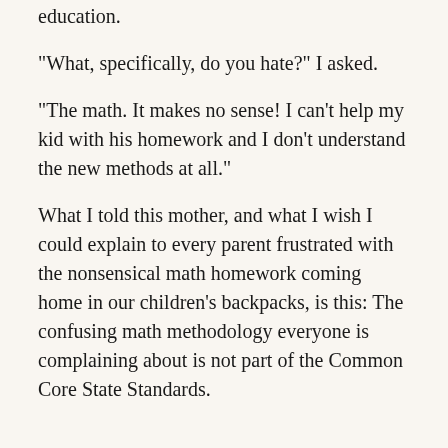education.
“What, specifically, do you hate?” I asked.
“The math. It makes no sense! I can’t help my kid with his homework and I don’t understand the new methods at all.”
What I told this mother, and what I wish I could explain to every parent frustrated with the nonsensical math homework coming home in our children’s backpacks, is this: The confusing math methodology everyone is complaining about is not part of the Common Core State Standards.